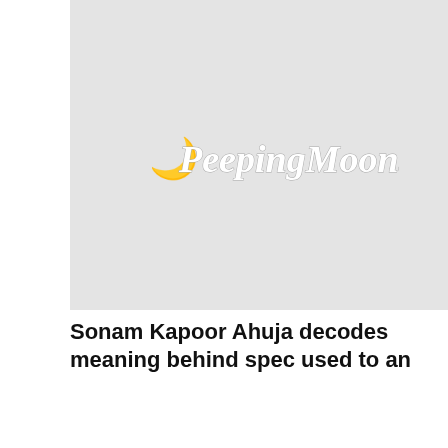[Figure (logo): PeepingMoon.com logo on grey background, top image card]
Sonam Kapoor Ahuja decodes meaning behind spec used to an
[Figure (logo): PeepingMoon.com logo on grey background, middle image card with SHARE button overlay]
After separating from wife Sanya Sagar, Prateik Babbar finds love Priya Banerjee?
[Figure (logo): PeepingMoon.com logo on grey background, bottom image card (partial)]